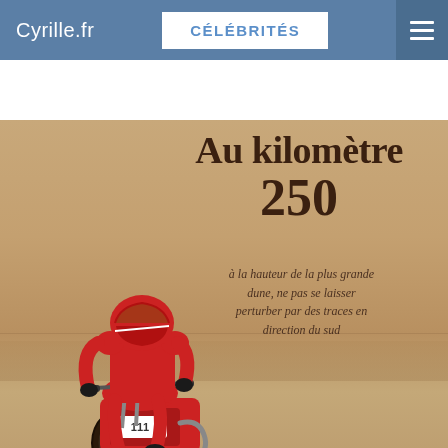Cyrille.fr | CÉLÉBRITÉS
[Figure (photo): Magazine page scan showing a motorcycle rally rider dressed in red gear riding across a desert sandy landscape. Large serif text reads 'Au kilomètre 250' with Italian caption text. Website navigation bar at top reads Cyrille.fr and CÉLÉBRITÉS.]